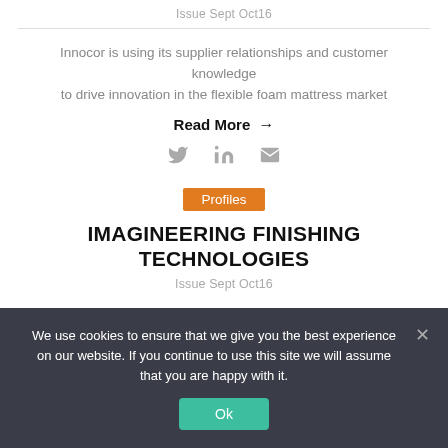Issue Sept Oct16
Innocor is using its supplier relationships and customer knowledge to drive innovation in the flexible foam mattress market
Read More →
[Figure (infographic): Social media icons: Twitter bird, LinkedIn 'in', envelope/email icon in gray]
Profiles
IMAGINEERING FINISHING TECHNOLOGIES
Issue Sept Oct16
We use cookies to ensure that we give you the best experience on our website. If you continue to use this site we will assume that you are happy with it.
Ok